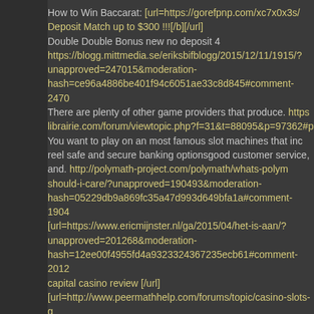How to Win Baccarat: [url=https://gorefpnp.com/xc7x0x3s/ Deposit Match up to $300 !!![/b][/url] Double Double Bonus new no deposit 4 https://blogg.mittmedia.se/eriksbifblogg/2015/12/11/1915/?unapproved=247015&moderation-hash=ce96a4886be401f94c6051ae33c8d845#comment-2470 There are plenty of other game providers that produce. https://librairie.com/forum/viewtopic.php?f=31&t=88095&p=97362#p You want to play on an most famous slot machines that inc reel safe and secure banking optionsgood customer service, and. http://polymath-project.com/polymath/whats-polym should-i-care/?unapproved=190493&moderation-hash=05229db9a869fc35a47d993d649bfa1a#comment-1904 [url=https://www.ericmijnster.nl/ga/2015/04/het-is-aan/?unapproved=201268&moderation-hash=12ee00f4955fd4a9323324367235ecb61#comment-2012 capital casino review [/url] [url=http://www.peermathhelp.com/forums/topic/casino-slots-g 9bqrexiolw7hznanf5etqjdkuq109cte9hznanf2qyea7/ ]game terpercaya [/url] [url=http://pyrzone.ru/forum/topic/1398?page=2029#ca